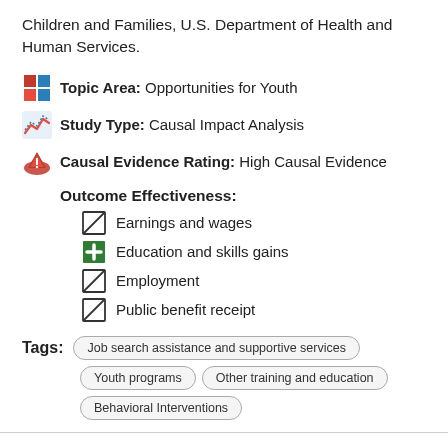Children and Families, U.S. Department of Health and Human Services.
Topic Area: Opportunities for Youth
Study Type: Causal Impact Analysis
Causal Evidence Rating: High Causal Evidence
Outcome Effectiveness:
Earnings and wages
Education and skills gains
Employment
Public benefit receipt
Tags: Job search assistance and supportive services | Youth programs | Other training and education | Behavioral Interventions